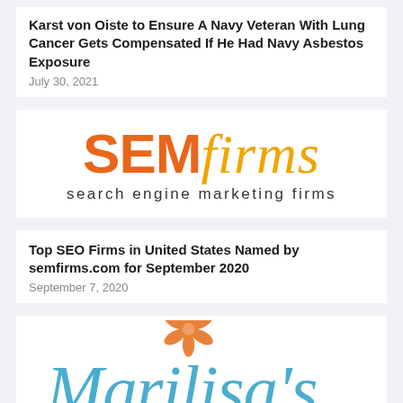Advocate has Endorsed Attorney Erik Karst of Karst von Oiste to Ensure A Navy Veteran With Lung Cancer Gets Compensated If He Had Navy Asbestos Exposure
July 30, 2021
[Figure (logo): SEMfirms logo: 'SEM' in bold orange, 'firms' in italic gold/yellow, tagline 'search engine marketing firms' below in grey spaced letters]
Top SEO Firms in United States Named by semfirms.com for September 2020
September 7, 2020
[Figure (logo): Marilisa's logo: cursive blue script with an orange flower/star above, partially visible]